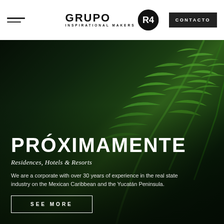Grupo Inspirational Makers — CONTACTO
[Figure (photo): Dark green tropical fern leaves background photo for hero section]
PRÓXIMAMENTE
Residences, Hotels & Resorts
We are a corporate with over 30 years of experience in the real state industry on the Mexican Caribbean and the Yucatán Peninsula.
SEE MORE